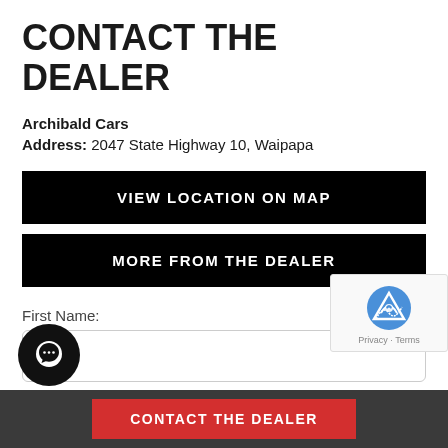CONTACT THE DEALER
Archibald Cars
Address: 2047 State Highway 10, Waipapa
VIEW LOCATION ON MAP
MORE FROM THE DEALER
First Name:
ame:
[Figure (other): reCAPTCHA verification widget with logo and Privacy/Terms links]
CONTACT THE DEALER